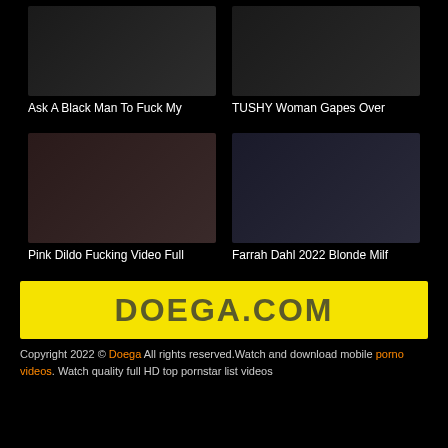[Figure (photo): Thumbnail image for adult video: Ask A Black Man To Fuck My]
Ask A Black Man To Fuck My
[Figure (photo): Thumbnail image for adult video: TUSHY Woman Gapes Over]
TUSHY Woman Gapes Over
[Figure (photo): Thumbnail image for adult video: Pink Dildo Fucking Video Full]
Pink Dildo Fucking Video Full
[Figure (photo): Thumbnail image for adult video: Farrah Dahl 2022 Blonde Milf]
Farrah Dahl 2022 Blonde Milf
[Figure (logo): DOEGA.COM banner logo in yellow background with dark olive text]
Copyright 2022 © Doega All rights reserved.Watch and download mobile porno videos. Watch quality full HD top pornstar list videos